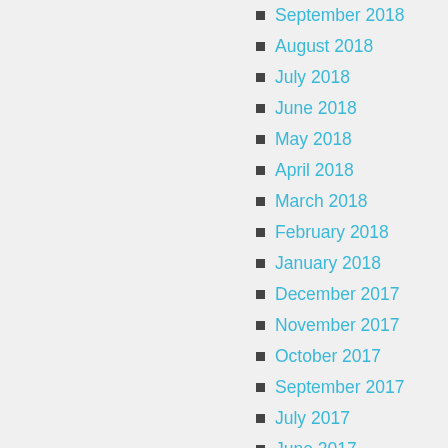September 2018
August 2018
July 2018
June 2018
May 2018
April 2018
March 2018
February 2018
January 2018
December 2017
November 2017
October 2017
September 2017
July 2017
June 2017
May 2017
April 2017
March 2017
February 2017